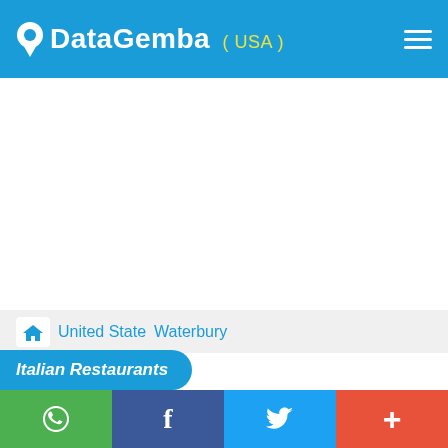DataGemba (USA)
[Figure (screenshot): White blank map/content area in the middle of the page]
United State   Waterbury
Italian Restaurants
WhatsApp | Facebook | Twitter | +